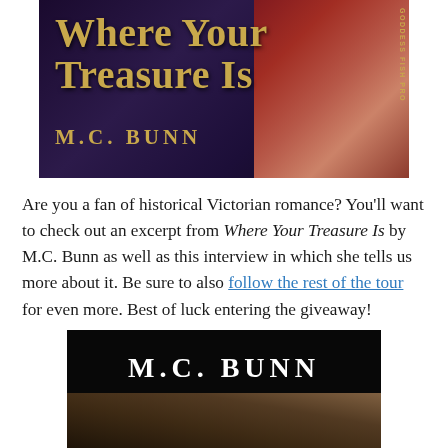[Figure (illustration): Book cover for 'Where Your Treasure Is' by M.C. Bunn — dark purple/navy background with a woman in a red dress, golden serif title text, published by Goddess Fish Pro]
Are you a fan of historical Victorian romance? You'll want to check out an excerpt from Where Your Treasure Is by M.C. Bunn as well as this interview in which she tells us more about it. Be sure to also follow the rest of the tour for even more. Best of luck entering the giveaway!
[Figure (illustration): Second book cover image for M.C. Bunn — white serif author name on black background with partial artwork visible at bottom]